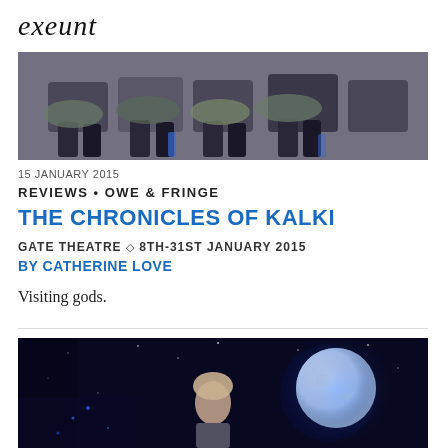exeunt
[Figure (photo): Three people seated, showing their laps and legs against a blue-lit background]
15 JANUARY 2015
REVIEWS • OWE & FRINGE
THE CHRONICLES OF KALKI
GATE THEATRE ◇ 8TH-31ST JANUARY 2015
BY CATHERINE LOVE
Visiting gods.
[Figure (photo): A performer on stage with a large glowing moon-like orb in a dark, starry setting]